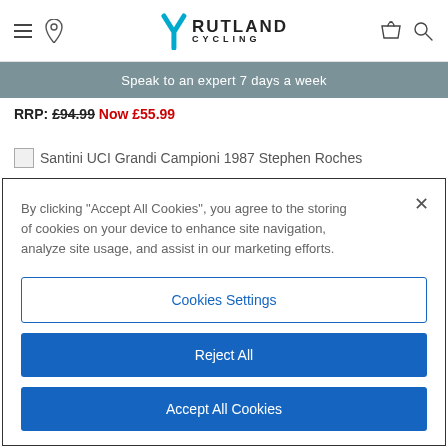[Figure (screenshot): Rutland Cycling website header with hamburger menu, location pin icon, Rutland Cycling logo, basket icon, and search icon]
Speak to an expert 7 days a week
RRP: £94.99 Now £55.99
Santini UCI Grandi Campioni 1987 Stephen Roches
By clicking "Accept All Cookies", you agree to the storing of cookies on your device to enhance site navigation, analyze site usage, and assist in our marketing efforts.
Cookies Settings
Reject All
Accept All Cookies